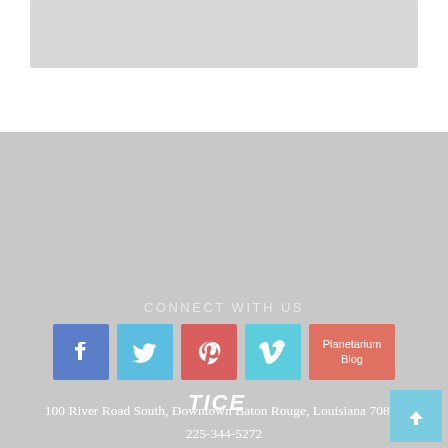[Figure (illustration): Gray placeholder image bar at top of page]
CONNECT WITH US
[Figure (infographic): Row of social media icon buttons: Facebook (blue), Twitter (light blue), Pinterest (red), Vimeo (cyan), and Planetarium Blog (salmon/red)]
100 River Road South, Downtown Baton Rouge, Louisiana 70802
225-344-5272
Privacy Statement
© 2022 Louisiana Art & Science Museum
[Figure (logo): TICE logo in white]
[Figure (illustration): Back to top button (light blue square with upward chevron arrow)]